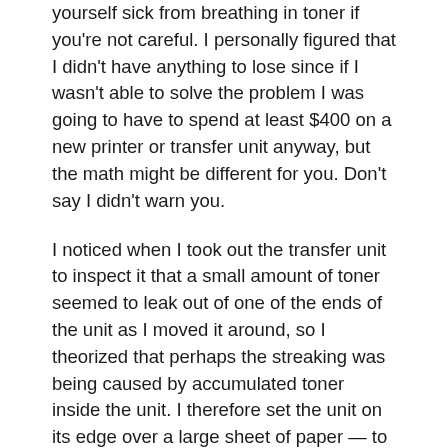yourself sick from breathing in toner if you're not careful. I personally figured that I didn't have anything to lose since if I wasn't able to solve the problem I was going to have to spend at least $400 on a new printer or transfer unit anyway, but the math might be different for you. Don't say I didn't warn you.
I noticed when I took out the transfer unit to inspect it that a small amount of toner seemed to leak out of one of the ends of the unit as I moved it around, so I theorized that perhaps the streaking was being caused by accumulated toner inside the unit. I therefore set the unit on its edge over a large sheet of paper — to collect the toner — and started tapping gently with a small rubber mallet on the top corner of the unit. I did this for a long time. A lot of toner poured out of the bottom corner of the unit (the pile of toner shown in the photo isn't nearly all of it, since I replaced the paper with a clean one several times):